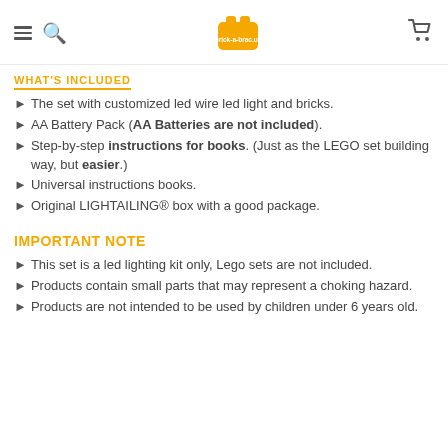brick-a-brac.uk
WHAT'S INCLUDED
The set with customized led wire led light and bricks.
AA Battery Pack (AA Batteries are not included).
Step-by-step instructions for books. (Just as the LEGO set building way, but easier.)
Universal instructions books.
Original LIGHTAILING® box with a good package.
IMPORTANT NOTE
This set is a led lighting kit only, Lego sets are not included.
Products contain small parts that may represent a choking hazard.
Products are not intended to be used by children under 6 years old.